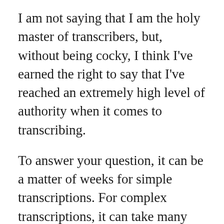I am not saying that I am the holy master of transcribers, but, without being cocky, I think I've earned the right to say that I've reached an extremely high level of authority when it comes to transcribing.
To answer your question, it can be a matter of weeks for simple transcriptions. For complex transcriptions, it can take many months! We thank you for your patience, but please remember, that we constantly encourage training your ears. It's truly one of the best ways to improve as a musician!
Q: I found some mistakes in your transcriptions.